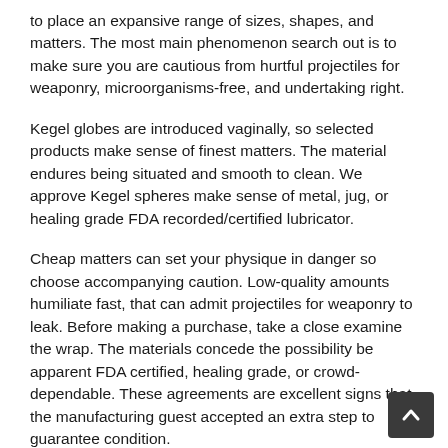to place an expansive range of sizes, shapes, and matters. The most main phenomenon search out is to make sure you are cautious from hurtful projectiles for weaponry, microorganisms-free, and undertaking right.
Kegel globes are introduced vaginally, so selected products make sense of finest matters. The material endures being situated and smooth to clean. We approve Kegel spheres make sense of metal, jug, or healing grade FDA recorded/certified lubricator.
Cheap matters can set your physique in danger so choose accompanying caution. Low-quality amounts humiliate fast, that can admit projectiles for weaponry to leak. Before making a purchase, take a close examine the wrap. The materials concede the possibility be apparent FDA certified, healing grade, or crowd-dependable. These agreements are excellent signs that the manufacturing guest accepted an extra step to guarantee condition.
For learners, arising out of a healing grade lubricator